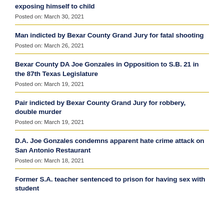exposing himself to child
Posted on: March 30, 2021
Man indicted by Bexar County Grand Jury for fatal shooting
Posted on: March 26, 2021
Bexar County DA Joe Gonzales in Opposition to S.B. 21 in the 87th Texas Legislature
Posted on: March 19, 2021
Pair indicted by Bexar County Grand Jury for robbery, double murder
Posted on: March 19, 2021
D.A. Joe Gonzales condemns apparent hate crime attack on San Antonio Restaurant
Posted on: March 18, 2021
Former S.A. teacher sentenced to prison for having sex with student